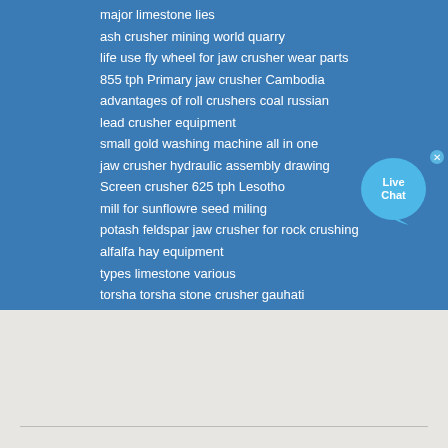major limestone lies
ash crusher mining world quarry
life use fly wheel for jaw crusher wear parts
855 tph Primary jaw crusher Cambodia
advantages of roll crushers coal russian
lead crusher equipment
small gold washing machine all in one
jaw crusher hydraulic assembly drawing
Screen crusher 625 tph Lesotho
mill for sunflowre seed miling
potash feldspar jaw crusher for rock crushing
alfalfa hay equipment
types limestone various
torsha torsha stone crusher gauhati
crusher waste stones
igold mining crushing plan Tsouth africa
[Figure (infographic): Live Chat bubble widget with close button]
[Figure (infographic): Social media icons: Facebook, Twitter, Google, LinkedIn, Instagram]